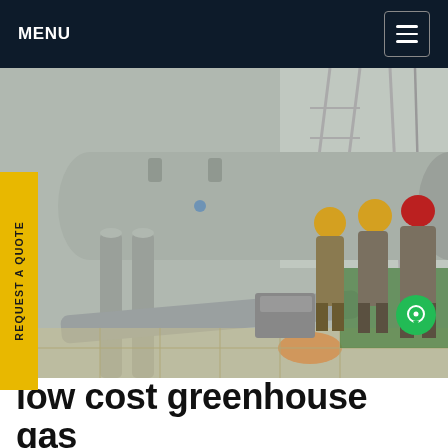MENU
[Figure (photo): Workers in hard hats and coveralls inspecting large industrial gas cylinders and piping at an outdoor electrical substation or industrial facility. Three workers visible wearing yellow and red helmets. Orange bag visible on ground, electrical towers in background.]
REQUEST A QUOTE
low cost greenhouse gas sf8 R...